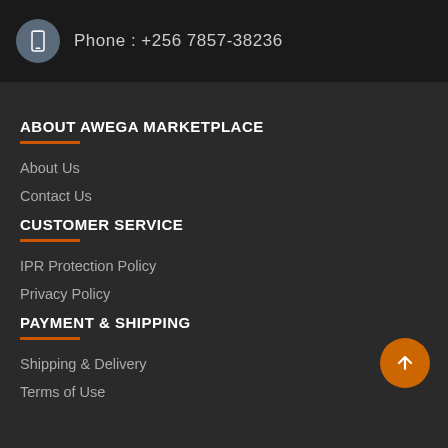Phone : +256 7857-38236
ABOUT AWEGA MARKETPLACE
About Us
Contact Us
CUSTOMER SERVICE
IPR Protection Policy
Privacy Policy
PAYMENT & SHIPPING
Shipping & Delivery
Terms of Use